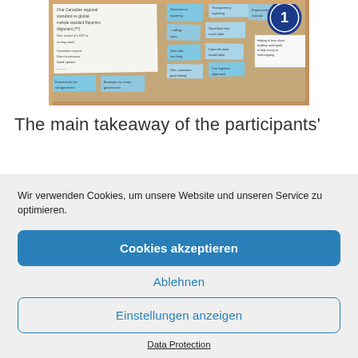[Figure (photo): Photo of a cork bulletin board with blue sticky notes and handwritten papers pinned to it, numbered station marker visible in top right corner]
The main takeaway of the participants'
Wir verwenden Cookies, um unsere Website und unseren Service zu optimieren.
Cookies akzeptieren
Ablehnen
Einstellungen anzeigen
Data Protection